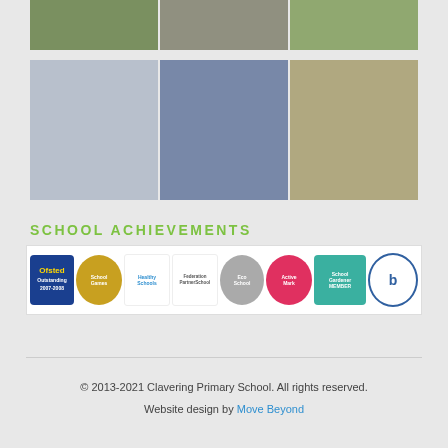[Figure (photo): Top row of three photos showing school children outdoors and indoors]
[Figure (photo): Bottom row of three photos showing school children in various activities]
SCHOOL ACHIEVEMENTS
[Figure (infographic): Row of school achievement badges: Ofsted Outstanding, School Games, Healthy Schools, Federation SchoolsPartner, Eco Schools, ActiveMark 200, School Gardener Member, Proud to Feed b logo]
© 2013-2021 Clavering Primary School. All rights reserved.
Website design by Move Beyond